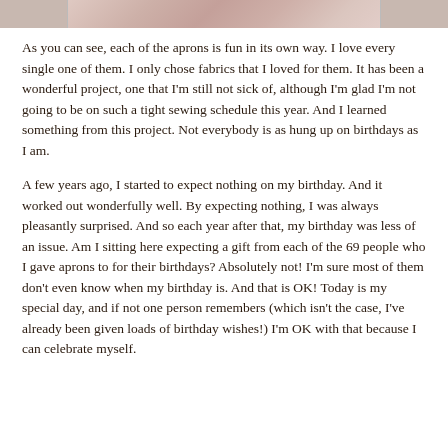[Figure (photo): Partial image strip at the top of the page showing what appears to be fabric or aprons in pinkish/rosy tones]
As you can see, each of the aprons is fun in its own way. I love every single one of them. I only chose fabrics that I loved for them. It has been a wonderful project, one that I'm still not sick of, although I'm glad I'm not going to be on such a tight sewing schedule this year. And I learned something from this project. Not everybody is as hung up on birthdays as I am.
A few years ago, I started to expect nothing on my birthday. And it worked out wonderfully well. By expecting nothing, I was always pleasantly surprised. And so each year after that, my birthday was less of an issue. Am I sitting here expecting a gift from each of the 69 people who I gave aprons to for their birthdays? Absolutely not! I'm sure most of them don't even know when my birthday is. And that is OK! Today is my special day, and if not one person remembers (which isn't the case, I've already been given loads of birthday wishes!) I'm OK with that because I can celebrate myself.